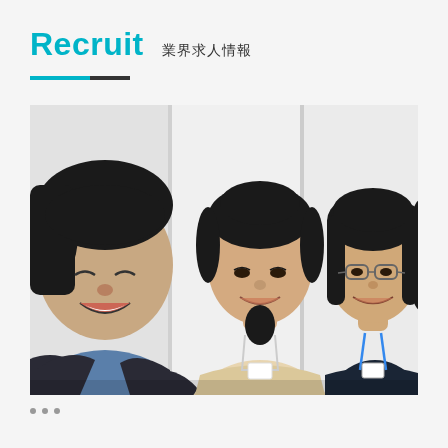Recruit　業界求人情報
[Figure (photo): Three young Japanese professionals (one man and two women) smiling and conversing in an office setting with white partitioned walls in the background. The man on the left is laughing, the woman in the center wears a lanyard, and the woman on the right wears glasses and a blue lanyard.]